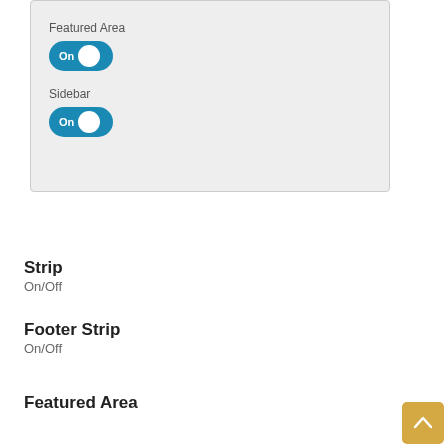[Figure (screenshot): UI settings panel showing toggle switches for Featured Area (On) and Sidebar (On) options on a light gray background]
Strip
On/Off
Footer Strip
On/Off
Featured Area